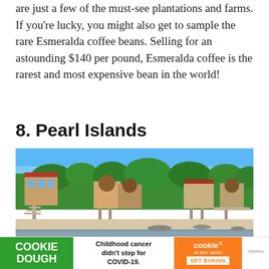are just a few of the must-see plantations and farms. If you're lucky, you might also get to sample the rare Esmeralda coffee beans. Selling for an astounding $140 per pound, Esmeralda coffee is the rarest and most expensive bean in the world!
8. Pearl Islands
[Figure (photo): Beachside view of Pearl Islands showing tropical buildings and structures built on stilts along a sandy shoreline, with lush green trees and a clear blue sky.]
[Figure (other): Advertisement banner: COOKIE DOUGH / Childhood cancer didn't stop for COVID-19. / cookies for kids' cancer / GET BAKING]